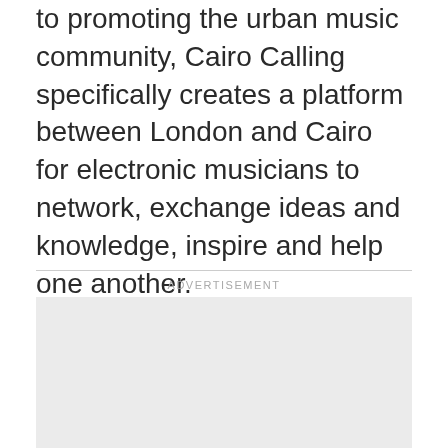to promoting the urban music community, Cairo Calling specifically creates a platform between London and Cairo for electronic musicians to network, exchange ideas and knowledge, inspire and help one another.
ADVERTISEMENT
[Figure (other): Advertisement placeholder box, light gray background, empty]